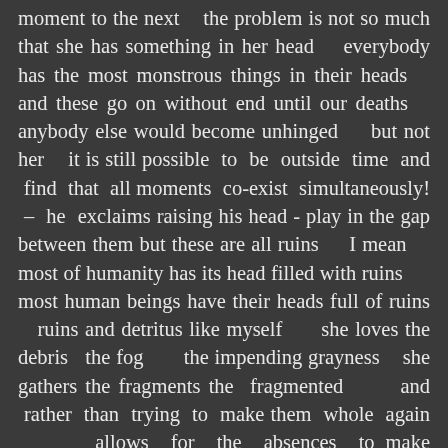moment to the next    the problem is not so much that she has something in her head    everybody has the most monstrous things in their heads    and these go on without end until our deaths    anybody else would become unhinged      but not her    it is still possible  to  be  outside  time  and  find  that  all moments  co-exist  simultaneously!  –  he  exclaims raising his head - play in the gap between them but these are all ruins     I mean     most of humanity has its head filled with ruins      most human beings have their heads full of ruins    ruins and detritus like myself      she loves the debris   the fog       the impending grayness    she gathers the fragments the  fragmented       and  rather  than  trying  to  make them  whole  again        allows  for  the  absences  to make  themselves  felt        why        the  cognitively fragmented world in which we live brings about the desire in many for over arching narratives – the old man says with growing glee – but these turn out to give   only   illusions   of   mending   the   prevalent fragmentation     anticipating a totalizing vision that obscures the importance of local events    examples